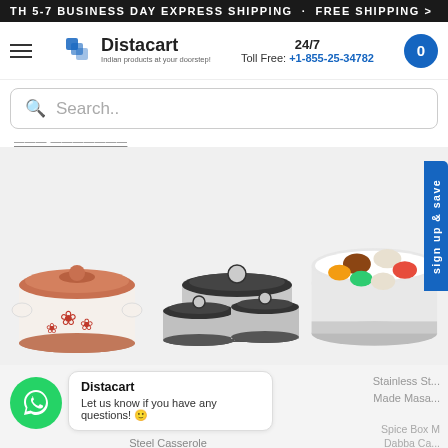TH 5-7 BUSINESS DAY EXPRESS SHIPPING . FREE SHIPPING >
[Figure (logo): Distacart logo with tagline 'Indian products at your doorstep!']
24/7 Toll Free: +1-855-25-34782
Search..
------  --------
[Figure (photo): Three product images: a terracotta/white casserole with floral design, a set of three stainless steel casseroles with black lids, and a round spice box with colorful compartments]
sign up & save
[Figure (logo): WhatsApp green circle button]
Distacart
Let us know if you have any questions! 😊
Milton Stainless Steel Casserole
Stainless Steel Made Masala/Spice Box Masala Dabba Ca...